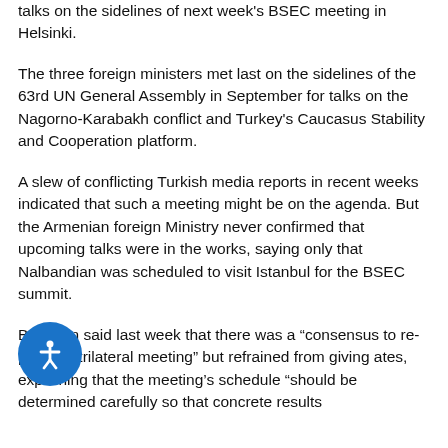talks on the sidelines of next week's BSEC meeting in Helsinki.
The three foreign ministers met last on the sidelines of the 63rd UN General Assembly in September for talks on the Nagorno-Karabakh conflict and Turkey's Caucasus Stability and Cooperation platform.
A slew of conflicting Turkish media reports in recent weeks indicated that such a meeting might be on the agenda. But the Armenian foreign Ministry never confirmed that upcoming talks were in the works, saying only that Nalbandian was scheduled to visit Istanbul for the BSEC summit.
Babacan said last week that there was a “consensus to repeat the trilateral meeting” but refrained from giving dates, explaining that the meeting’s schedule “should be determined carefully so that concrete results
[Figure (other): Accessibility button with person icon (blue circle with white figure)]